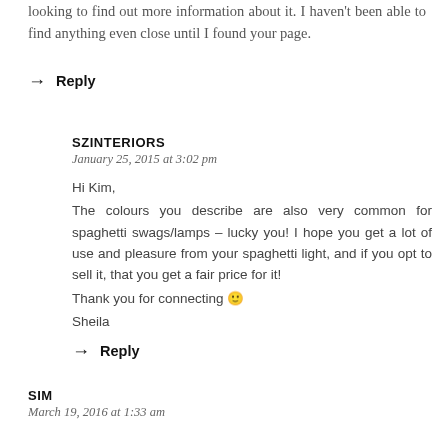looking to find out more information about it. I haven't been able to find anything even close until I found your page.
→ Reply
SZINTERIORS
January 25, 2015 at 3:02 pm
Hi Kim,
The colours you describe are also very common for spaghetti swags/lamps – lucky you! I hope you get a lot of use and pleasure from your spaghetti light, and if you opt to sell it, that you get a fair price for it!
Thank you for connecting 🙂
Sheila
→ Reply
SIM
March 19, 2016 at 1:33 am